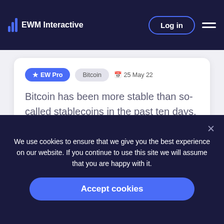EWM Interactive
★ EW Pro   Bitcoin   📅 25 May 22
Bitcoin has been more stable than so-called stablecoins in the past ten days, but experienced traders know this calmness...
[Figure (other): Partial screenshot of a chart with blue bars visible in upper right]
We use cookies to ensure that we give you the best experience on our website. If you continue to use this site we will assume that you are happy with it.
Accept cookies